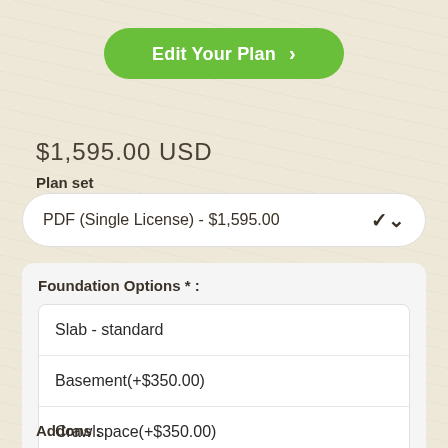[Figure (other): Green rounded button labeled 'Edit Your Plan >']
$1,595.00 USD
Plan set
PDF (Single License) - $1,595.00
Foundation Options * :
Slab - standard
Basement(+$350.00)
Crawlspace(+$350.00)
Addons :